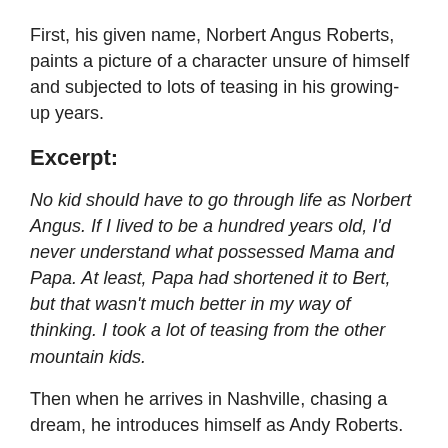First, his given name, Norbert Angus Roberts, paints a picture of a character unsure of himself and subjected to lots of teasing in his growing-up years.
Excerpt:
No kid should have to go through life as Norbert Angus. If I lived to be a hundred years old, I'd never understand what possessed Mama and Papa. At least, Papa had shortened it to Bert, but that wasn't much better in my way of thinking. I took a lot of teasing from the other mountain kids.
Then when he arrives in Nashville, chasing a dream, he introduces himself as Andy Roberts.
But that name is short-lived.